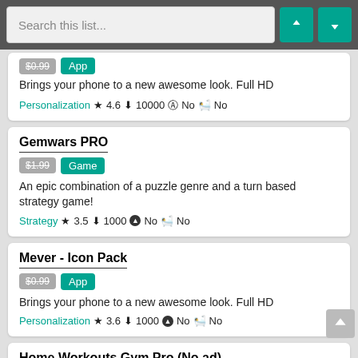[Figure (screenshot): Search bar with two teal sort buttons (up and down arrows) on a gray background]
$0.99 App — Brings your phone to a new awesome look. Full HD — Personalization ★ 4.6 ↓ 10000 ⊕ No 🛒 No
Gemwars PRO
$1.99 Game — An epic combination of a puzzle genre and a turn based strategy game! — Strategy ★ 3.5 ↓ 1000 ⊕ No 🛒 No
Mever - Icon Pack
$0.99 App — Brings your phone to a new awesome look. Full HD — Personalization ★ 3.6 ↓ 1000 ⊕ No 🛒 No
Home Workouts Gym Pro (No ad)